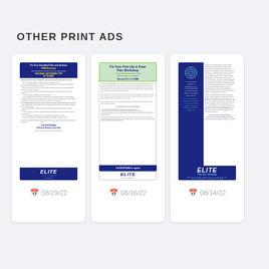OTHER PRINT ADS
[Figure (photo): Thumbnail of print ad: Fix Your Own Back Pain and Sciatica FREE Workshop, Elite Physical Therapy, dated 08/19/22]
08/19/22
[Figure (photo): Thumbnail of print ad: Fix Your Own Hip & Knee Pain Workshop, Elite Physical Therapy, dated 08/16/22]
08/16/22
[Figure (photo): Thumbnail of print ad: Elite Pelvic Rehab, are you tired of counting on incontinence pads, dated 08/14/22]
08/14/22